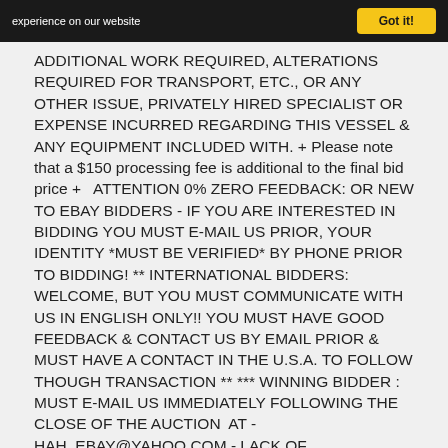experience on our website  Got it!
ADDITIONAL WORK REQUIRED, ALTERATIONS REQUIRED FOR TRANSPORT, ETC., OR ANY OTHER ISSUE, PRIVATELY HIRED SPECIALIST OR EXPENSE INCURRED REGARDING THIS VESSEL & ANY EQUIPMENT INCLUDED WITH. + Please note that a $150 processing fee is additional to the final bid price +   ATTENTION 0% ZERO FEEDBACK: OR NEW TO EBAY BIDDERS - IF YOU ARE INTERESTED IN BIDDING YOU MUST E-MAIL US PRIOR, YOUR IDENTITY *MUST BE VERIFIED* BY PHONE PRIOR TO BIDDING! ** INTERNATIONAL BIDDERS: WELCOME, BUT YOU MUST COMMUNICATE WITH US IN ENGLISH ONLY!! YOU MUST HAVE GOOD FEEDBACK & CONTACT US BY EMAIL PRIOR & MUST HAVE A CONTACT IN THE U.S.A. TO FOLLOW THOUGH TRANSACTION ** *** WINNING BIDDER : MUST E-MAIL US IMMEDIATELY FOLLOWING THE CLOSE OF THE AUCTION  AT - HAH_EBAY@YAHOO.COM - LACK OF COMMUNICATION MAY RESULT IN THE